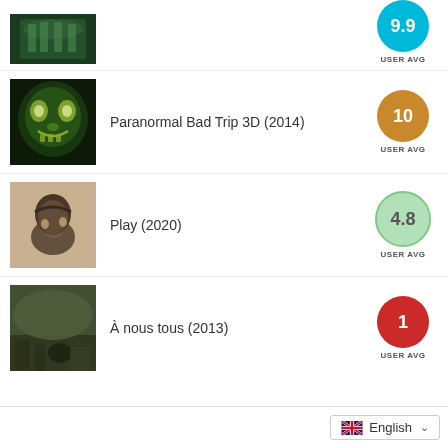[Figure (screenshot): Partial movie thumbnail at top (architectural/gothic green lit building)]
9.9
USER AVG
[Figure (photo): Movie thumbnail for Paranormal Bad Trip 3D - green monster face]
Paranormal Bad Trip 3D (2014)
10
USER AVG
[Figure (photo): Movie thumbnail for Play (2020) - person smiling]
Play (2020)
4.8
USER AVG
[Figure (photo): Movie thumbnail for À nous tous (2013) - outdoor nature scene]
À nous tous (2013)
1
USER AVG
English